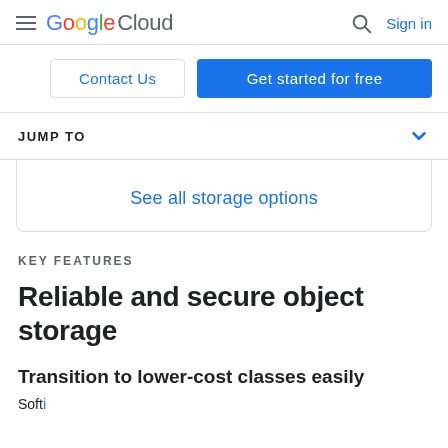Google Cloud — Sign in
Contact Us | Get started for free
JUMP TO
See all storage options
KEY FEATURES
Reliable and secure object storage
Transition to lower-cost classes easily